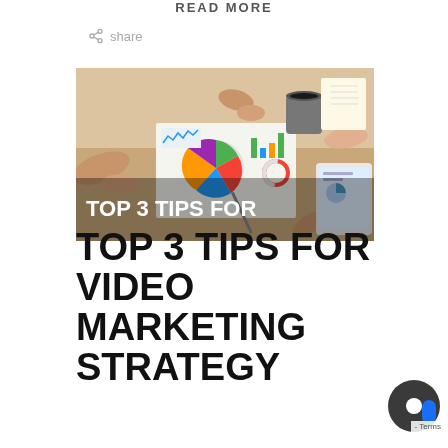READ MORE
share
[Figure (photo): Overhead view of people at a table working on marketing strategy documents with charts, pie graphs, a tablet, and a coffee mug]
TOP 3 TIPS FOR VIDEO MARKETING STRATEGY